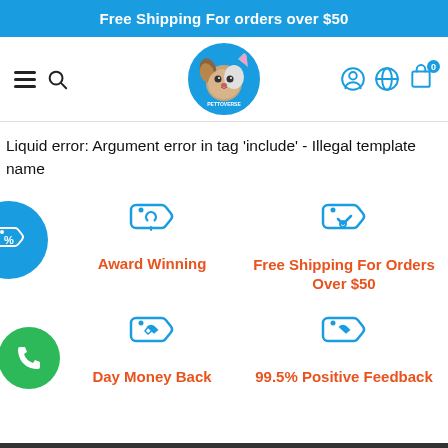Free Shipping For orders over $50
[Figure (screenshot): Pettoverse website navigation bar with hamburger menu, search icon, Pettoverse logo (circular with pet illustration), user account icon, globe/language icon, and shopping bag icon with badge '0']
Liquid error: Argument error in tag 'include' - Illegal template name
[Figure (illustration): Blue circular icon with white price tag and percent symbol on left side]
[Figure (illustration): Blue price tag icon with heart symbol]
Award Winning
[Figure (illustration): Blue price tag icon with heart symbol]
Free Shipping For Orders Over $50
[Figure (illustration): Blue price tag icon with heart symbol]
Day Money Back
[Figure (illustration): Blue price tag icon with heart symbol]
99.5% Positive Feedback
[Figure (illustration): Green circular phone/call button icon]